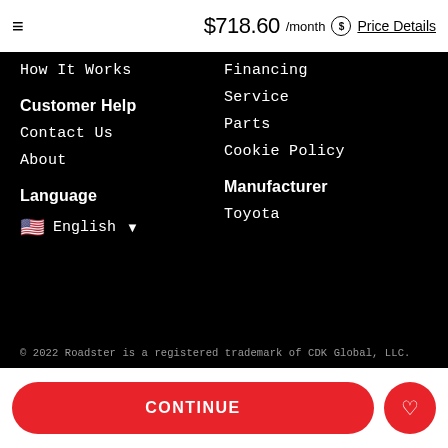$718.60 /month  Price Details
How It Works
Financing
Service
Parts
Cookie Policy
Customer Help
Manufacturer
Contact Us
Toyota
About
Language
English
© 2022 Roadster is a registered trademark of CDK Global, LLC.
CONTINUE